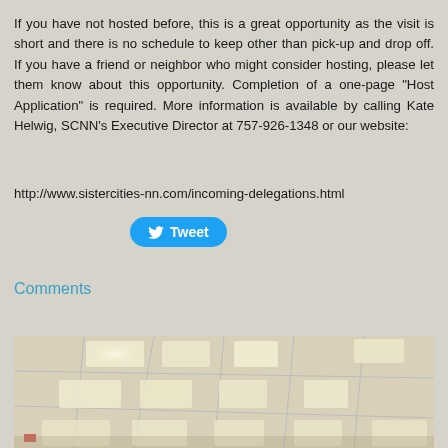If you have not hosted before, this is a great opportunity as the visit is short and there is no schedule to keep other than pick-up and drop off. If you have a friend or neighbor who might consider hosting, please let them know about this opportunity. Completion of a one-page "Host Application" is required. More information is available by calling Kate Helwig, SCNN's Executive Director at 757-926-1348 or our website:
http://www.sistercities-nn.com/incoming-delegations.html
[Figure (other): Blue Twitter Tweet button with bird icon]
Comments
[Figure (photo): Interior photo of a room or hallway with drop ceiling and recessed fluorescent panel lights, viewed from below at an angle]